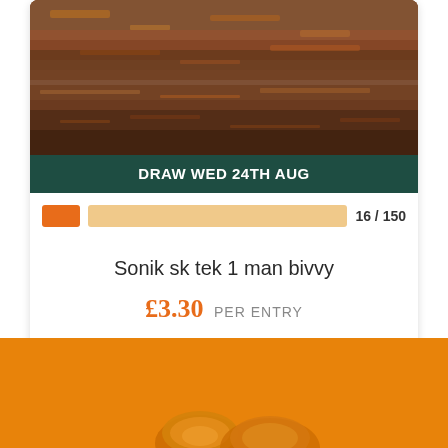[Figure (photo): Autumn leaves and natural debris on ground, brown and orange tones]
DRAW WED 24TH AUG
16 / 150
Sonik sk tek 1 man bivvy
£3.30 PER ENTRY
Enter Now
[Figure (photo): Orange background with fishing reel items visible at bottom]